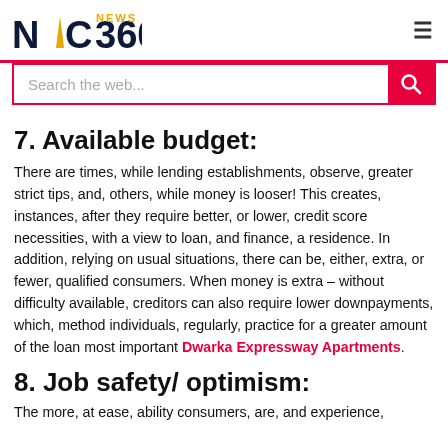NAC360 NEWS
7. Available budget:
There are times, while lending establishments, observe, greater strict tips, and, others, while money is looser! This creates, instances, after they require better, or lower, credit score necessities, with a view to loan, and finance, a residence. In addition, relying on usual situations, there can be, either, extra, or fewer, qualified consumers. When money is extra – without difficulty available, creditors can also require lower downpayments, which, method individuals, regularly, practice for a greater amount of the loan most important Dwarka Expressway Apartments.
8. Job safety/ optimism:
The more, at ease, ability consumers, are, and experience,